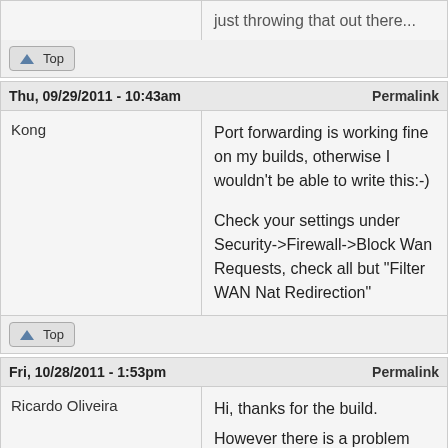just throwing that out there...
Top
Thu, 09/29/2011 - 10:43am
Permalink
Kong
Port forwarding is working fine on my builds, otherwise I wouldn't be able to write this:-)

Check your settings under Security->Firewall->Block Wan Requests, check all but "Filter WAN Nat Redirection"
Top
Fri, 10/28/2011 - 1:53pm
Permalink
Ricardo Oliveira
Hi, thanks for the build. However there is a problem that